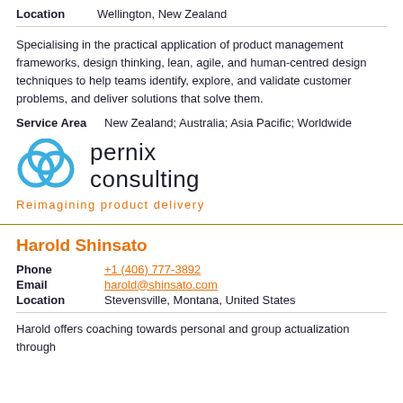Location    Wellington, New Zealand
Specialising in the practical application of product management frameworks, design thinking, lean, agile, and human-centred design techniques to help teams identify, explore, and validate customer problems, and deliver solutions that solve them.
Service Area    New Zealand; Australia; Asia Pacific; Worldwide
[Figure (logo): Pernix Consulting logo with three overlapping blue circles and text 'pernix consulting' and tagline 'Reimagining product delivery' in orange]
Harold Shinsato
Phone  +1 (406) 777-3892
Email  harold@shinsato.com
Location   Stevensville, Montana, United States
Harold offers coaching towards personal and group actualization through